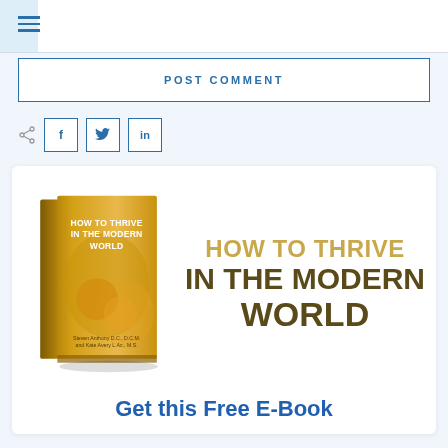[Figure (screenshot): Website navigation hamburger menu icon (three horizontal lines) in blue on white/light-blue header bar]
POST COMMENT
[Figure (other): Social share icons: share symbol, Facebook (f), Twitter (bird), LinkedIn (in) in blue outlined squares]
[Figure (other): Book cover and promotional banner for 'How to Thrive in the Modern World' e-book]
Get this Free E-Book